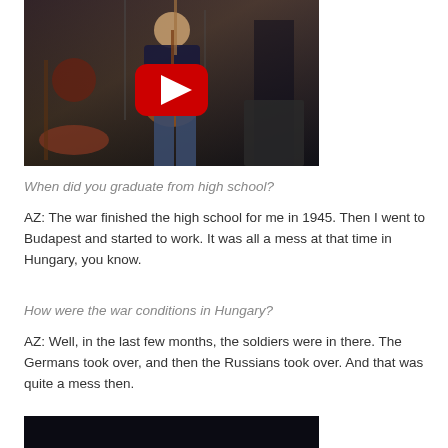[Figure (photo): YouTube video thumbnail showing a musician playing guitar with a red YouTube play button overlay]
When did you graduate from high school?
AZ: The war finished the high school for me in 1945. Then I went to Budapest and started to work. It was all a mess at that time in Hungary, you know.
How were the war conditions in Hungary?
AZ: Well, in the last few months, the soldiers were in there. The Germans took over, and then the Russians took over. And that was quite a mess then.
[Figure (screenshot): Bottom portion of another video thumbnail with dark background]